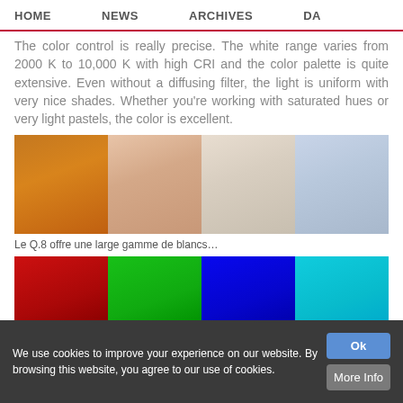HOME  NEWS  ARCHIVES  DA...
The color control is really precise. The white range varies from 2000 K to 10,000 K with high CRI and the color palette is quite extensive. Even without a diffusing filter, the light is uniform with very nice shades. Whether you're working with saturated hues or very light pastels, the color is excellent.
[Figure (photo): Four color swatches showing white balance range: orange/warm, peach/skin tone, light beige/neutral, light blue/cool]
Le Q.8 offre une large gamme de blancs…
[Figure (photo): Four saturated color swatches: red, green, blue, cyan]
We use cookies to improve your experience on our website. By browsing this website, you agree to our use of cookies.